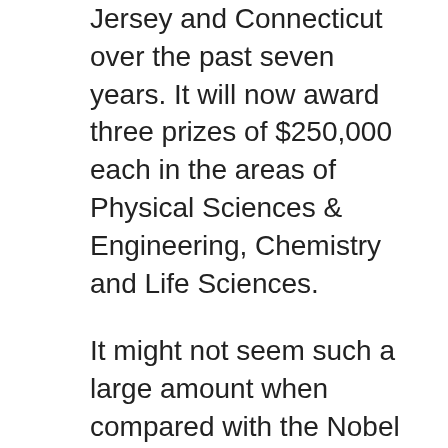Jersey and Connecticut over the past seven years. It will now award three prizes of $250,000 each in the areas of Physical Sciences & Engineering, Chemistry and Life Sciences.
It might not seem such a large amount when compared with the Nobel prize (which is currently around $1 million) or the whopping $3 Million that each winner of the newly established Breakthrough Prizes received, yet these awards are targeted towards younger up-and-coming researchers (there is an age limit of 42) rather than those that are already leaders in their field.
The idea, according to Blavatnik is to make the prizes big enough to be interesting but not so large as to be scary. While there are many rewards and incentives for established and prominent scientists,